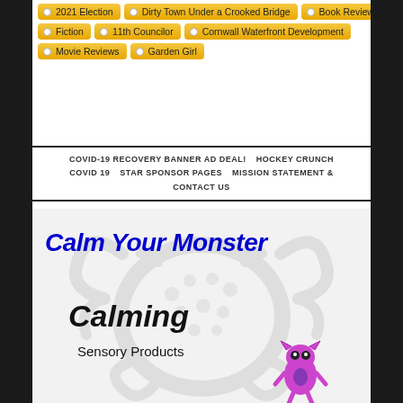2021 Election
Dirty Town Under a Crooked Bridge
Book Reviews
Fiction
11th Councilor
Cornwall Waterfront Development
Movie Reviews
Garden Girl
COVID-19 RECOVERY BANNER AD DEAL!   HOCKEY CRUNCH   COVID 19   STAR SPONSOR PAGES   MISSION STATEMENT & CONTACT US
[Figure (illustration): Advertisement for Calm Your Monster - Calming Sensory Products. Features large blue bold italic text 'Calm Your Monster', large black italic text 'Calming', regular text 'Sensory Products', a faded grey scorpion/crab creature in the background, and a small purple cartoon monster character on the right side.]